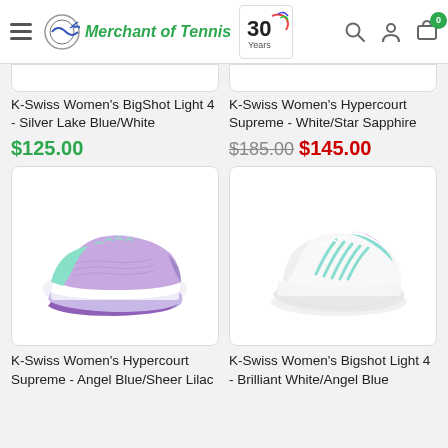Merchant of Tennis - 30 Years
[Figure (screenshot): Partial product image cards at top of page (cut off)]
K-Swiss Women's BigShot Light 4 - Silver Lake Blue/White
$125.00
K-Swiss Women's Hypercourt Supreme - White/Star Sapphire
$185.00 $145.00
[Figure (photo): K-Swiss Women's Hypercourt Supreme tennis shoe in angel blue/sheer lilac colorway]
[Figure (photo): K-Swiss Women's Bigshot Light 4 tennis shoe in brilliant white/angel blue colorway]
K-Swiss Women's Hypercourt Supreme - Angel Blue/Sheer Lilac
K-Swiss Women's Bigshot Light 4 - Brilliant White/Angel Blue